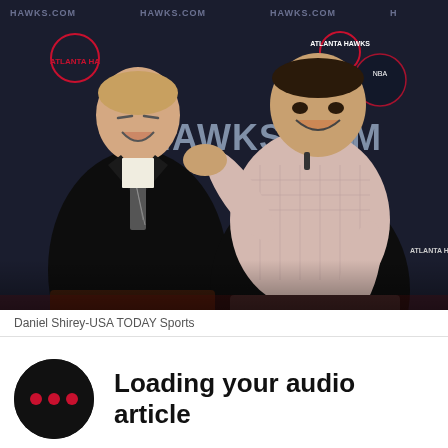[Figure (photo): Two men seated laughing in front of an Atlanta Hawks HAWKS.COM step-and-repeat banner. The man on the left wears a dark suit with striped tie; the man on the right wears a pink/light checkered shirt and is gesturing with his hands.]
Daniel Shirey-USA TODAY Sports
Loading your audio article
The Atlanta Hawks and Peachtree Hoops have come